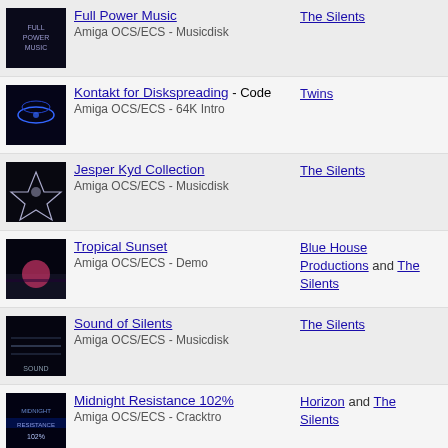Full Power Music - Amiga OCS/ECS - Musicdisk | The Silents | Oct 1990
Kontakt for Diskspreading - Code - Amiga OCS/ECS - 64K Intro | Twins | Oct 1990
Jesper Kyd Collection - Amiga OCS/ECS - Musicdisk | The Silents | Oct 1990
Tropical Sunset - Amiga OCS/ECS - Demo | Blue House Productions and The Silents | Sep 1990
Sound of Silents - Amiga OCS/ECS - Musicdisk | The Silents | Sep 1990
Midnight Resistance 102% - Amiga OCS/ECS - Cracktro | Horizon and The Silents | Aug 1990
Harley-Davidson: The Road to Sturgis - Amiga OCS/ECS - Cracktro | Horizon and The Silents | Jul 1990
Blue House - Amiga OCS/ECS - Demo | The Silents | Jun 1990